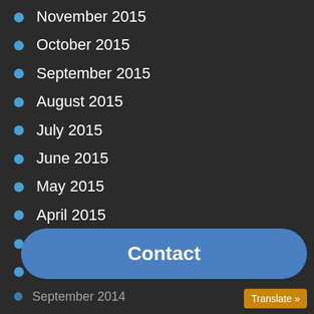November 2015
October 2015
September 2015
August 2015
July 2015
June 2015
May 2015
April 2015
March 2015
February 2015
January 2015
December 2014
November 2014
Contact
September 2014
Translate »